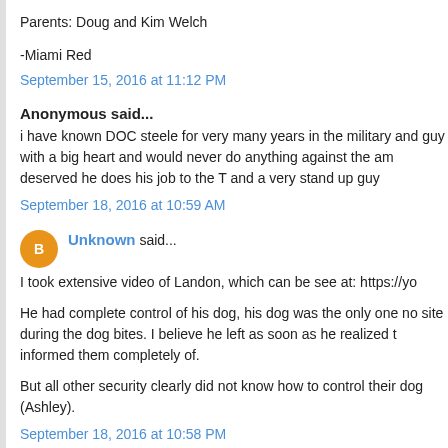Parents: Doug and Kim Welch
-Miami Red
September 15, 2016 at 11:12 PM
Anonymous said...
i have known DOC steele for very many years in the military and guy with a big heart and would never do anything against the am deserved he does his job to the T and a very stand up guy
September 18, 2016 at 10:59 AM
Unknown said...
I took extensive video of Landon, which can be see at: https://yo
He had complete control of his dog, his dog was the only one no site during the dog bites. I believe he left as soon as he realized t informed them completely of.
But all other security clearly did not know how to control their dog (Ashley).
September 18, 2016 at 10:58 PM